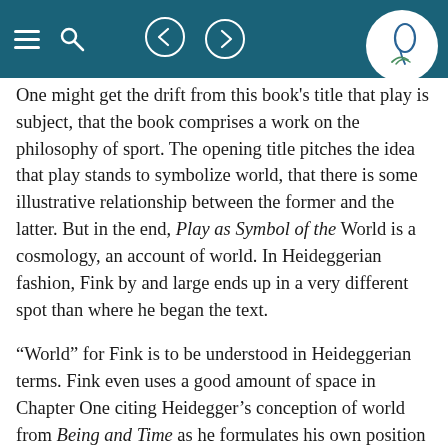[Navigation bar with hamburger menu, search icon, back/forward arrows, and logo]
One might get the drift from this book's title that play is subject, that the book comprises a work on the philosophy of sport. The opening title pitches the idea that play stands to symbolize world, that there is some illustrative relationship between the former and the latter. But in the end, Play as Symbol of the World is a cosmology, an account of world. In Heideggerian fashion, Fink by and large ends up in a very different spot than where he began the text.
“World” for Fink is to be understood in Heideggerian terms. Fink even uses a good amount of space in Chapter One citing Heidegger’s conception of world from Being and Time as he formulates his own position (66ff). World in Fink’s reading comprises the underlying background within which all phenomena appear for the human agent; world both individualizes and contextualizes. Yet world is not a thing, not a substance to which one can assign a definite article. It is not to be understood metaphysically, as the receptacle housing all things of the